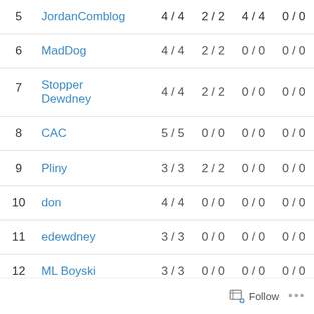| # | Name | Col1 | Col2 | Col3 | Col4 |
| --- | --- | --- | --- | --- | --- |
| 5 | JordanComblog | 4 / 4 | 2 / 2 | 4 / 4 | 0 / 0 |
| 6 | MadDog | 4 / 4 | 2 / 2 | 0 / 0 | 0 / 0 |
| 7 | Stopper Dewdney | 4 / 4 | 2 / 2 | 0 / 0 | 0 / 0 |
| 8 | CAC | 5 / 5 | 0 / 0 | 0 / 0 | 0 / 0 |
| 9 | Pliny | 3 / 3 | 2 / 2 | 0 / 0 | 0 / 0 |
| 10 | don | 4 / 4 | 0 / 0 | 0 / 0 | 0 / 0 |
| 11 | edewdney | 3 / 3 | 0 / 0 | 0 / 0 | 0 / 0 |
| 12 | ML Boyski | 3 / 3 | 0 / 0 | 0 / 0 | 0 / 0 |
| 13 | ... | 0 / 0 | 0 / 0 | 0 / 0 | 0 / 0 |